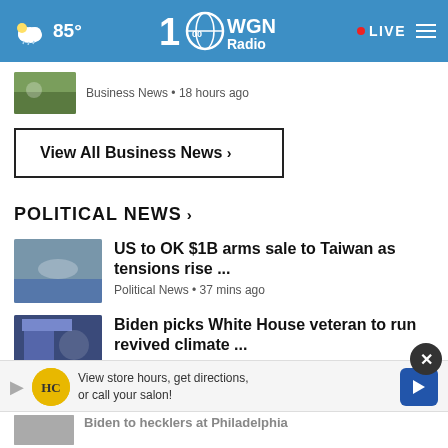85° WGN Radio 100 • LIVE
Business News • 18 hours ago
View All Business News ›
POLITICAL NEWS ›
US to OK $1B arms sale to Taiwan as tensions rise ...
Political News • 37 mins ago
Biden picks White House veteran to run revived climate ...
Political News • 47 mins ago
Biden seeks $47B for Ukrain...
View store hours, get directions, or call your salon!
Biden to hecklers at Philadelphia...